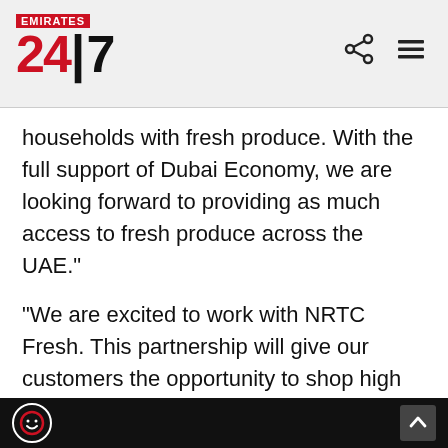Emirates 24|7
households with fresh produce. With the full support of Dubai Economy, we are looking forward to providing as much access to fresh produce across the UAE."
"We are excited to work with NRTC Fresh. This partnership will give our customers the opportunity to shop high quality fresh fruits and vegetables directly from a local supplier on InstaShop. Given that we partner only with the best, we are thrilled to include NRTC Fresh on our platforms and make sure that every household in Dubai has access to a reliable, convenient fresh produce delivery service," d John Tsioris, founder and CEO of InstaShop.